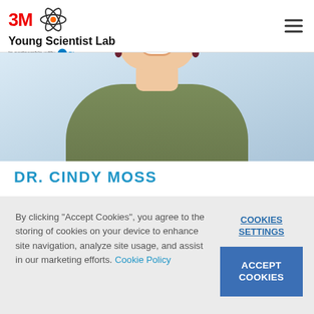3M Young Scientist Lab — in partnership with Discovery Education
[Figure (photo): Cropped photo of Dr. Cindy Moss smiling, wearing green jacket and dark earrings, light blue background]
DR. CINDY MOSS
By clicking "Accept Cookies", you agree to the storing of cookies on your device to enhance site navigation, analyze site usage, and assist in our marketing efforts. Cookie Policy
COOKIES SETTINGS
ACCEPT COOKIES